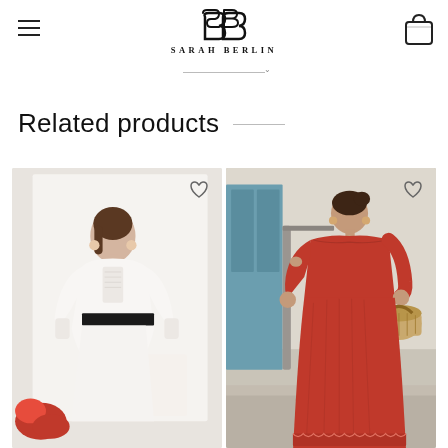Sarah Berlin
Related products
[Figure (photo): Woman in white long-sleeve lace dress with black belt, fashion product photo]
[Figure (photo): Woman in red off-shoulder long dress holding wicker basket, fashion product photo]